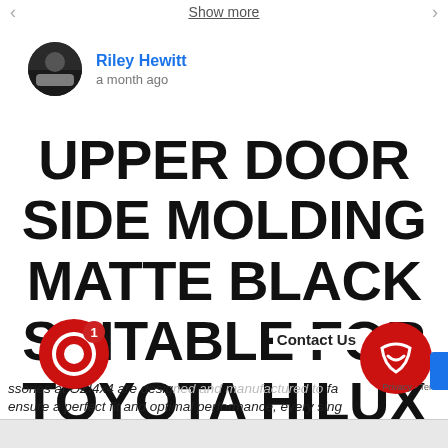Show more
Riley Hewitt
a month ago
UPPER DOOR SIDE MOLDING MATTE BLACK SUITABLE FOR TOYOTA HILUX SR & SR5 2015-2020
ssories at OZI4x4 are designed and manufactured to ensure a perfect fit and optimal performance, every sing
Contact Us